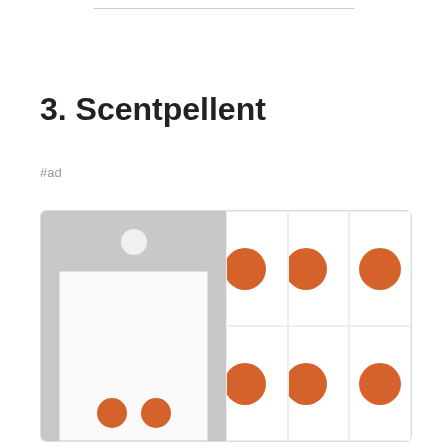3. Scentpellent
#ad
[Figure (photo): Product photo of Scentpellent showing two panels: left panel shows a packaged product card with orange dots and a hanging hole; right panel shows multiple orange dot patterns on white squares arranged in a grid.]
As an Amazon Associate I earn from qualifying purchases. This website uses the only necessary cookies to ensure you get the best experience on our website. More information